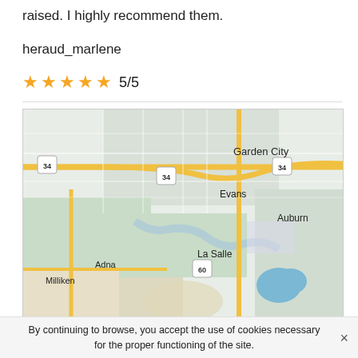raised. I highly recommend them.
heraud_marlene
★★★★★ 5/5
[Figure (map): Google map showing Garden City area in Colorado with highways 34 and 60, showing Evans, Auburn, La Salle, Adna, and Milliken neighborhoods]
By continuing to browse, you accept the use of cookies necessary for the proper functioning of the site.